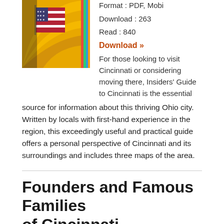[Figure (photo): Book cover image showing an American flag with yellow and colorful striped background]
Format : PDF, Mobi
Download : 263
Read : 840
Download »
For those looking to visit Cincinnati or considering moving there, Insiders' Guide to Cincinnati is the essential source for information about this thriving Ohio city. Written by locals with first-hand experience in the region, this exceedingly useful and practical guide offers a personal perspective of Cincinnati and its surroundings and includes three maps of the area.
Founders and Famous Families of Cincinnati
Wendy Hart Beckman — 2014-04-08